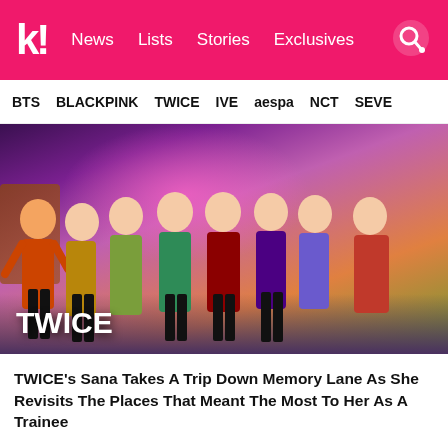k! News Lists Stories Exclusives
BTS BLACKPINK TWICE IVE aespa NCT SEVE
[Figure (photo): Group photo of TWICE members posing in colorful outfits on a decorated stage with pink/purple lighting. The word TWICE appears in white bold text at the bottom left of the image.]
TWICE's Sana Takes A Trip Down Memory Lane As She Revisits The Places That Meant The Most To Her As A Trainee
BLACKPINK's Lisa And TWICE's Nayeon Wore The Same